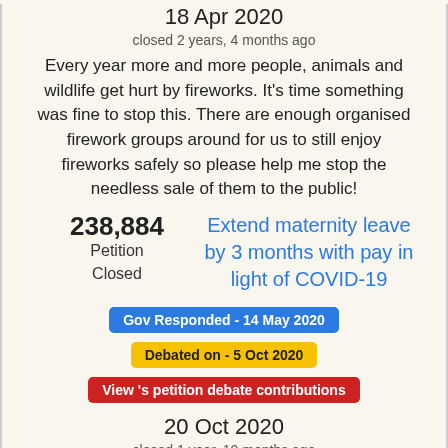18 Apr 2020
closed 2 years, 4 months ago
Every year more and more people, animals and wildlife get hurt by fireworks. It's time something was fine to stop this. There are enough organised firework groups around for us to still enjoy fireworks safely so please help me stop the needless sale of them to the public!
238,884
Petition
Closed
Extend maternity leave by 3 months with pay in light of COVID-19
Gov Responded - 14 May 2020
Debated on - 5 Oct 2020
View 's petition debate contributions
20 Oct 2020
closed 1 year, 10 months ago
In light of the recent outbreak and lock down